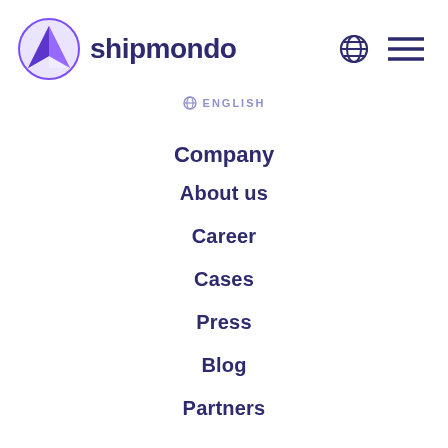[Figure (logo): Shipmondo logo: purple paper airplane icon inside a circle, with the text 'shipmondo' in dark navy bold font]
⊕ ENGLISH
Company
About us
Career
Cases
Press
Blog
Partners